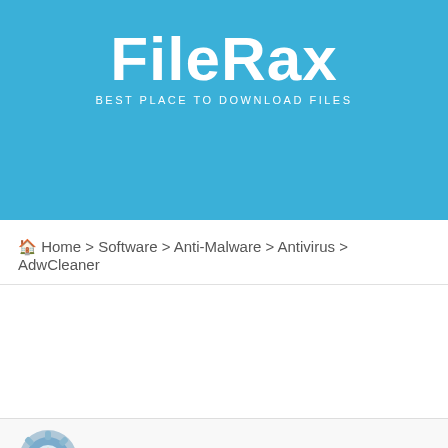[Figure (logo): FileRax website header banner with teal/blue background. Large white bold text 'FileRax' with subtitle 'BEST PLACE TO DOWNLOAD FILES']
🏠 Home > Software > Anti-Malware > Antivirus > AdwCleaner
[Figure (logo): AdwCleaner software icon - circular blue/grey logo with gear-like design and crosshair symbol]